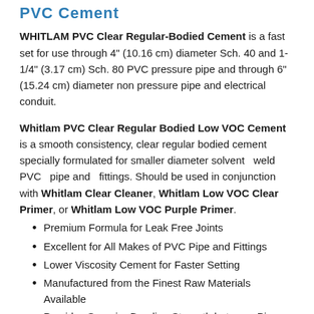PVC Cement
WHITLAM PVC Clear Regular-Bodied Cement is a fast set for use through 4" (10.16 cm) diameter Sch. 40 and 1-1/4" (3.17 cm) Sch. 80 PVC pressure pipe and through 6" (15.24 cm) diameter non pressure pipe and electrical conduit.
Whitlam PVC Clear Regular Bodied Low VOC Cement is a smooth consistency, clear regular bodied cement specially formulated for smaller diameter solvent weld PVC pipe and fittings. Should be used in conjunction with Whitlam Clear Cleaner, Whitlam Low VOC Clear Primer, or Whitlam Low VOC Purple Primer.
Premium Formula for Leak Free Joints
Excellent for All Makes of PVC Pipe and Fittings
Lower Viscosity Cement for Faster Setting
Manufactured from the Finest Raw Materials Available
Provides Superior Bonding Strength between Pipe and Fitting
Recommended application temperature: 40°F (4°C) to 100°F...